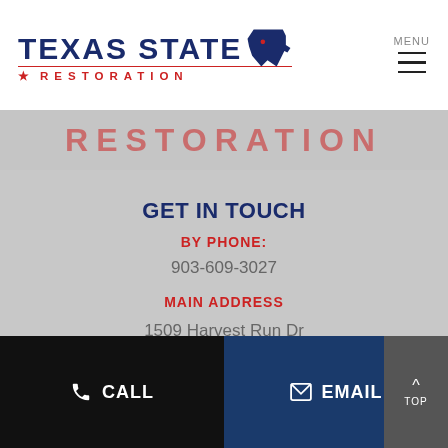[Figure (logo): Texas State Restoration logo with dark blue bold text 'TEXAS STATE' and red 'RESTORATION' text below, with Texas state shape silhouette]
MENU
[Figure (illustration): Red partial 'RESTORATION' text banner on gray background]
GET IN TOUCH
BY PHONE:
903-609-3027
MAIN ADDRESS
1509 Harvest Run Dr
Allen TX 75002
CALL
EMAIL
TOP